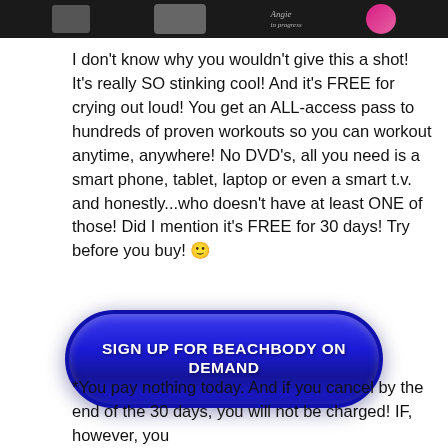[Figure (photo): Dark banner image showing fitness/streaming devices and logos including a pink circular logo and text 'Angie in progress']
I don't know why you wouldn't give this a shot! It's really SO stinking cool! And it's FREE for crying out loud! You get an ALL-access pass to hundreds of proven workouts so you can workout anytime, anywhere! No DVD's, all you need is a smart phone, tablet, laptop or even a smart t.v. and honestly...who doesn't have at least ONE of those! Did I mention it's FREE for 30 days! Try before you buy! 🙂
[Figure (other): Large blue rounded rectangle button with white bold text reading 'SIGN UP FOR BEACHBODY ON DEMAND']
*You pay nothing today. And if you cancel by the end of the 30 days, you will not be charged! IF, however, you